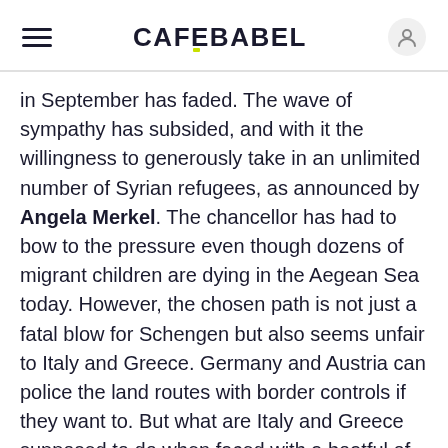CAFEBABEL
in September has faded. The wave of sympathy has subsided, and with it the willingness to generously take in an unlimited number of Syrian refugees, as announced by Angela Merkel. The chancellor has had to bow to the pressure even though dozens of migrant children are dying in the Aegean Sea today. However, the chosen path is not just a fatal blow for Schengen but also seems unfair to Italy and Greece. Germany and Austria can police the land routes with border controls if they want to. But what are Italy and Greece supposed to do when faced with a boatful of refugees that threatens to sink in the attempt to reach their coast? Shout 'stop!' because